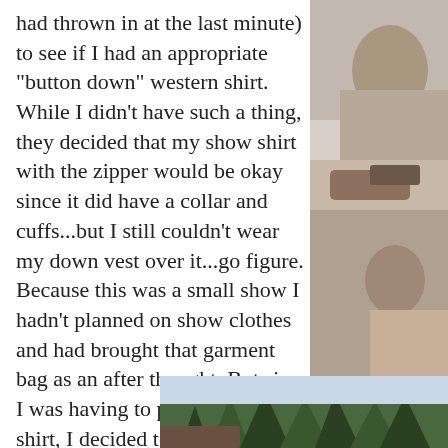had thrown in at the last minute) to see if I had an appropriate "button down" western shirt. While I didn't have such a thing, they decided that my show shirt with the zipper would be okay since it did have a collar and cuffs...but I still couldn't wear my down vest over it...go figure. Because this was a small show I hadn't planned on show clothes and had brought that garment bag as an after thought. But since I was having to put on the show shirt, I decided to go "all in" and put my "blingy" chaps on too. Got in 'em myself! Yes. I did too!! This fact was one of the things that impressed Mike the most about my day.
[Figure (photo): A person appearing to look through binoculars or a camera, partial view on the right side of the page]
[Figure (photo): Outdoor scene with tall evergreen trees and what appears to be a barn or building in the background, partially visible at the bottom of the page]